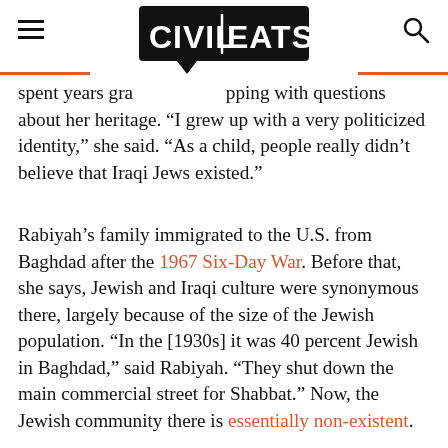CIVIL EATS
spent years grappling with questions about her heritage. “I grew up with a very politicized identity,” she said. “As a child, people really didn’t believe that Iraqi Jews existed.”
Rabiyah’s family immigrated to the U.S. from Baghdad after the 1967 Six-Day War. Before that, she says, Jewish and Iraqi culture were synonymous there, largely because of the size of the Jewish population. “In the [1930s] it was 40 percent Jewish in Baghdad,” said Rabiyah. “They shut down the main commercial street for Shabbat.” Now, the Jewish community there is essentially non-existent.